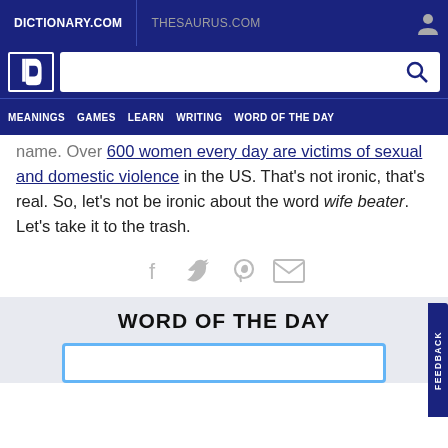DICTIONARY.COM | THESAURUS.COM
[Figure (screenshot): Dictionary.com logo, search bar with magnifying glass icon, and navigation menu with MEANINGS, GAMES, LEARN, WRITING, WORD OF THE DAY]
name. Over 600 women every day are victims of sexual and domestic violence in the US. That's not ironic, that's real. So, let's not be ironic about the word wife beater. Let's take it to the trash.
[Figure (infographic): Social sharing icons: Facebook, Twitter, Pinterest, Email (mail envelope)]
WORD OF THE DAY